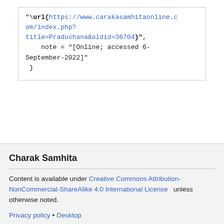"\url{https://www.carakasamhitaonline.com/index.php?title=Pradushana&oldid=36704}",
    note = "[Online; accessed 6-September-2022]"
 }
Charak Samhita
Content is available under Creative Commons Attribution-NonCommercial-ShareAlike 4.0 International License unless otherwise noted.
Privacy policy • Desktop